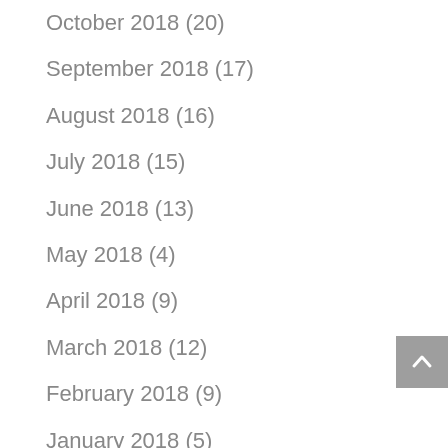October 2018 (20)
September 2018 (17)
August 2018 (16)
July 2018 (15)
June 2018 (13)
May 2018 (4)
April 2018 (9)
March 2018 (12)
February 2018 (9)
January 2018 (5)
December 2017 (10)